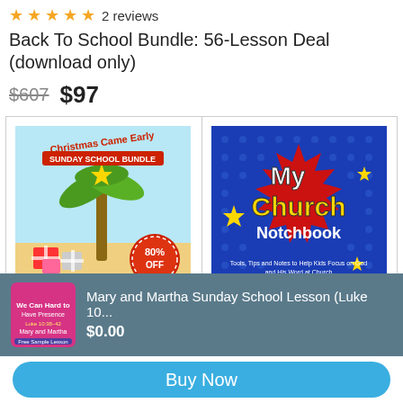★★★★★ 2 reviews
Back To School Bundle: 56-Lesson Deal (download only)
$607  $97
[Figure (illustration): Christmas Came Early Sunday School Bundle product image with palm tree, gifts, 80% OFF badge, and Sale label]
[Figure (illustration): My Church Notchbook product image on blue background with comic-style text]
Mary and Martha Sunday School Lesson (Luke 10... $0.00
Buy Now